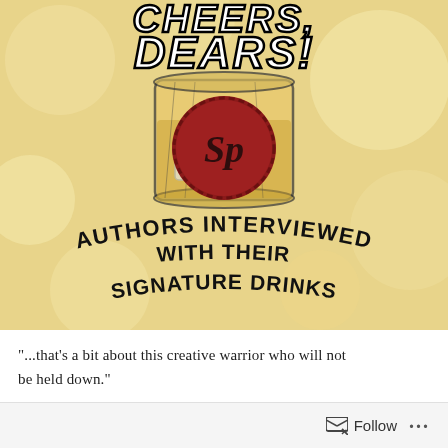[Figure (illustration): Book cover or blog graphic titled 'Cheers, Dears!' showing a whiskey glass with a red wax seal containing a cursive 'SP' monogram. Below reads 'Authors Interviewed With Their Signature Drinks' in curved black bold text. Background is a soft golden bokeh.]
"...that's a bit about this creative warrior who will not be held down."
Follow